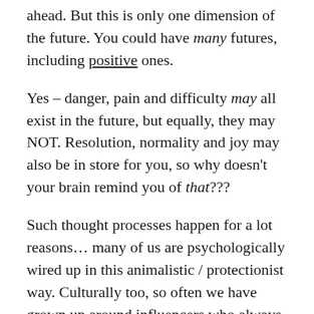ahead. But this is only one dimension of the future. You could have many futures, including positive ones.
Yes – danger, pain and difficulty may all exist in the future, but equally, they may NOT. Resolution, normality and joy may also be in store for you, so why doesn't your brain remind you of that???
Such thought processes happen for a lot reasons... many of us are psychologically wired up in this animalistic / protectionist way. Culturally too, so often we have grown up around influencers who always point out the negatives, difficulties and pitfalls of a situation.
Life should be a balance and...